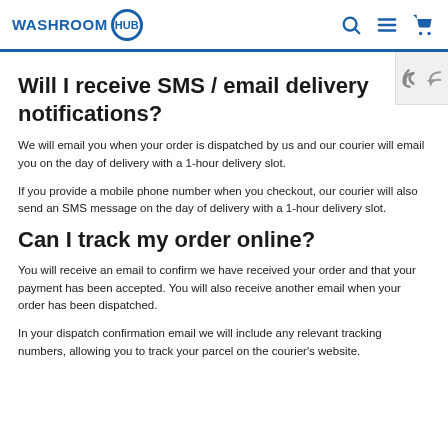WASHROOM HUB
Will I receive SMS / email delivery notifications?
We will email you when your order is dispatched by us and our courier will email you on the day of delivery with a 1-hour delivery slot.
If you provide a mobile phone number when you checkout, our courier will also send an SMS message on the day of delivery with a 1-hour delivery slot.
Can I track my order online?
You will receive an email to confirm we have received your order and that your payment has been accepted. You will also receive another email when your order has been dispatched.
In your dispatch confirmation email we will include any relevant tracking numbers, allowing you to track your parcel on the courier's website.